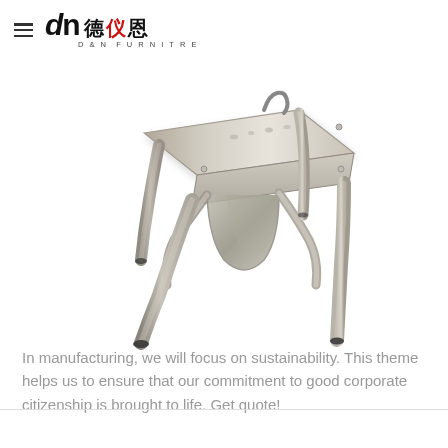D&N FURNITRE (德仪恩)
[Figure (photo): A metallic silver/gunmetal industrial-style metal stool with four angled legs and a flat square seat with perforations, viewed from a slightly elevated front angle. The stool has an arch/cross-brace under the seat and rubber feet tips.]
In manufacturing, we will focus on sustainability. This theme helps us to ensure that our commitment to good corporate citizenship is brought to life. Get quote!